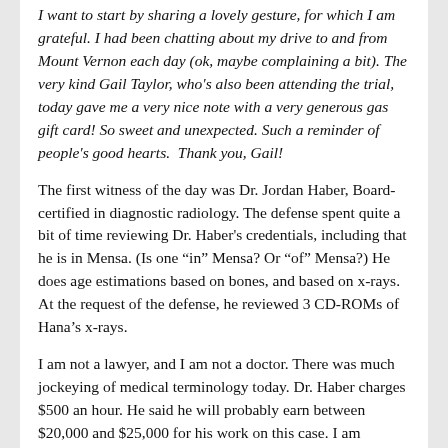I want to start by sharing a lovely gesture, for which I am grateful. I had been chatting about my drive to and from Mount Vernon each day (ok, maybe complaining a bit). The very kind Gail Taylor, who's also been attending the trial, today gave me a very nice note with a very generous gas gift card! So sweet and unexpected. Such a reminder of people's good hearts.  Thank you, Gail!
The first witness of the day was Dr. Jordan Haber, Board-certified in diagnostic radiology. The defense spent quite a bit of time reviewing Dr. Haber's credentials, including that he is in Mensa. (Is one “in” Mensa? Or “of” Mensa?) He does age estimations based on bones, and based on x-rays. At the request of the defense, he reviewed 3 CD-ROMs of Hana’s x-rays.
I am not a lawyer, and I am not a doctor. There was much jockeying of medical terminology today. Dr. Haber charges $500 an hour. He said he will probably earn between $20,000 and $25,000 for his work on this case. I am making substantially less following this case lol, so bear with me.